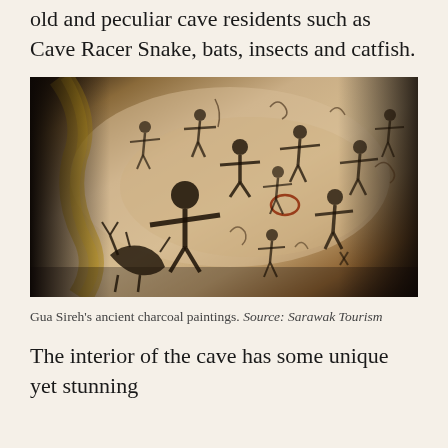greeted with cave paintings estimated to be 1,000 years old and peculiar cave residents such as Cave Racer Snake, bats, insects and catfish.
[Figure (photo): Ancient charcoal cave paintings on limestone cave wall at Gua Sireh, showing dark stick figures of humans and animals in various poses against a cream/tan coloured cave surface with natural mineral streaks.]
Gua Sireh's ancient charcoal paintings. Source: Sarawak Tourism
The interior of the cave has some unique yet stunning